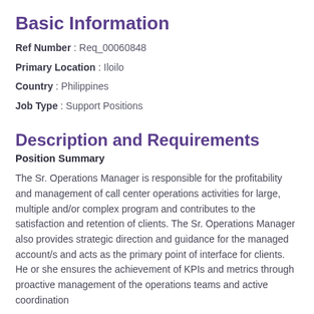Basic Information
Ref Number  : Req_00060848
Primary Location  : Iloilo
Country  : Philippines
Job Type  : Support Positions
Description and Requirements
Position Summary
The Sr. Operations Manager is responsible for the profitability and management of call center operations activities for large, multiple and/or complex program and contributes to the satisfaction and retention of clients. The Sr. Operations Manager also provides strategic direction and guidance for the managed account/s and acts as the primary point of interface for clients. He or she ensures the achievement of KPIs and metrics through proactive management of the operations teams and active coordination